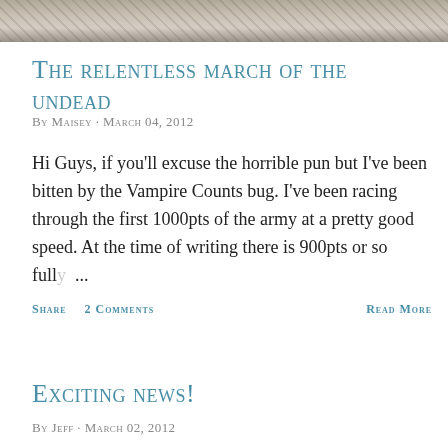[Figure (photo): Partial photo strip at top of page showing textured grey/brown surface]
The relentless march of the undead
By Maisey · March 04, 2012
Hi Guys, if you'll excuse the horrible pun but I've been bitten by the Vampire Counts bug. I've been racing through the first 1000pts of the army at a pretty good speed. At the time of writing there is 900pts or so fully ...
SHARE   2 COMMENTS   READ MORE
Exciting news!
By Jeff · March 02, 2012